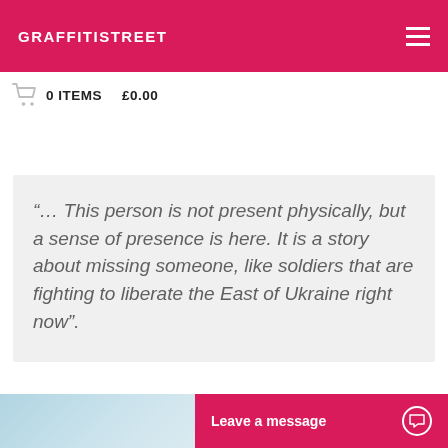GRAFFITISTREET
0 ITEMS   £0.00
"... This person is not present physically, but a sense of presence is here. It is a story about missing someone, like soldiers that are fighting to liberate the East of Ukraine right now".
[Figure (photo): Partial view of an image at bottom left, light blue/white tones]
Leave a message